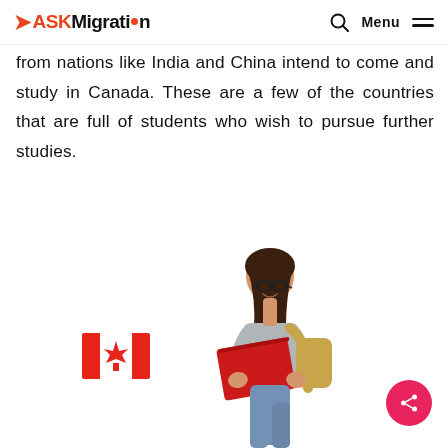ASKMigration — Menu
from nations like India and China intend to come and study in Canada. These are a few of the countries that are full of students who wish to pursue further studies.
[Figure (photo): A young female student with glasses, wearing a grey sweatshirt, carrying a backpack, holding a red folder and a Canadian flag. White background.]